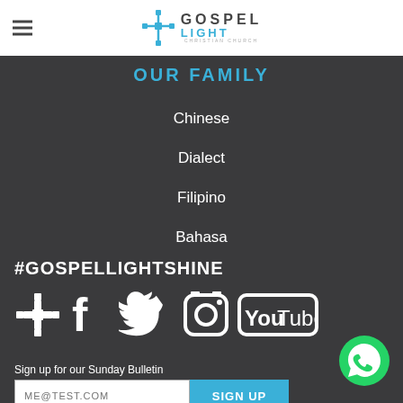[Figure (logo): Gospel Light Christian Church logo with cross icon and text]
OUR FAMILY
Chinese
Dialect
Filipino
Bahasa
#GOSPELLIGHTSHINE
[Figure (infographic): Social media icons: Gospel Light cross, Facebook, Twitter, Instagram, YouTube]
Sign up for our Sunday Bulletin
[Figure (infographic): WhatsApp icon (green circle with phone handset)]